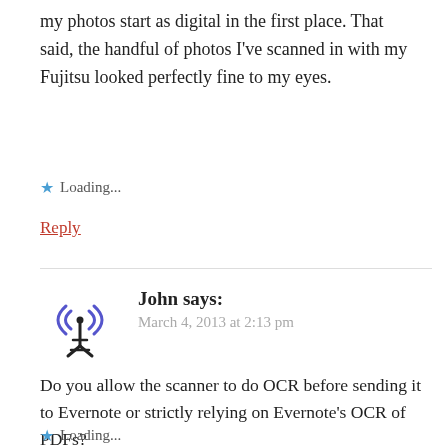my photos start as digital in the first place. That said, the handful of photos I've scanned in with my Fujitsu looked perfectly fine to my eyes.
★ Loading...
Reply
John says:
March 4, 2013 at 2:13 pm
Do you allow the scanner to do OCR before sending it to Evernote or strictly relying on Evernote's OCR of PDFs?
★ Loading...